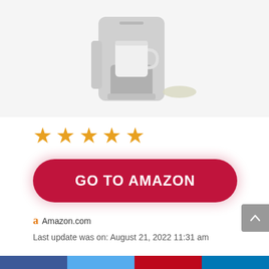[Figure (photo): Coffee maker / single-serve pod coffee machine in light gray color, with a white cup on top and a coffee pod to the right, shown on white background]
[Figure (other): Five orange/gold star rating icons]
GO TO AMAZON
Amazon.com
Last update was on: August 21, 2022 11:31 am